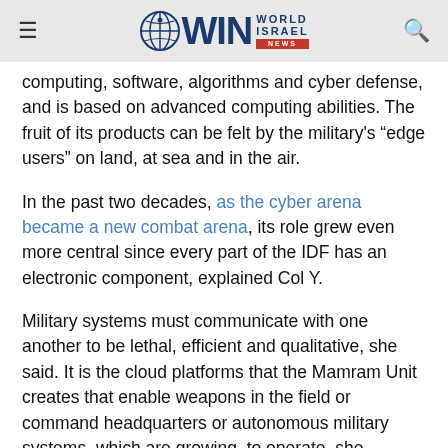WIN World Israel News
computing, software, algorithms and cyber defense, and is based on advanced computing abilities. The fruit of its products can be felt by the military's “edge users” on land, at sea and in the air.
In the past two decades, as the cyber arena became a new combat arena, its role grew even more central since every part of the IDF has an electronic component, explained Col Y.
Military systems must communicate with one another to be lethal, efficient and qualitative, she said. It is the cloud platforms that the Mamram Unit creates that enable weapons in the field or command headquarters or autonomous military systems, which are growing, to operate, she stressed.
Cloud platforms are developed in the unit’s data centers in-house. They process data at the core of military